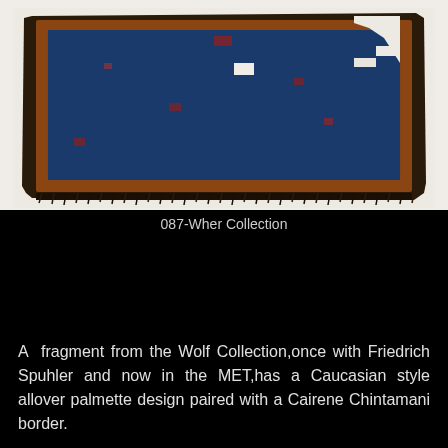[Figure (photo): A fragment of an antique rug or carpet with a deep blue field, fringe at the bottom edge, and scattered red and white design elements visible. The piece appears worn and fragmentary, photographed against a light background.]
087-Wher Collection
A fragment from the Wolf Collection,once with Friedrich Spuhler and now in the MET,has a Caucasian style allover palmette design paired with a Cairene Chintamani border.